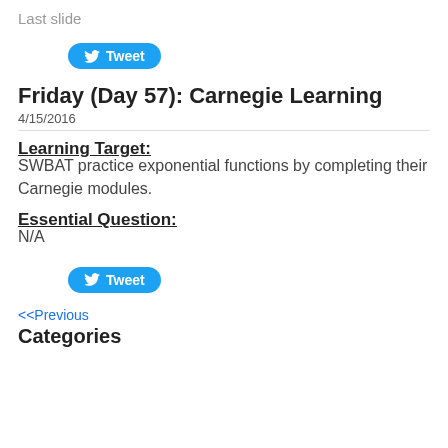Last slide
[Figure (other): Tweet button with Twitter bird icon]
Friday (Day 57): Carnegie Learning
4/15/2016
Learning Target:
SWBAT practice exponential functions by completing their Carnegie modules.
Essential Question:
N/A
[Figure (other): Tweet button with Twitter bird icon]
<<Previous
Categories